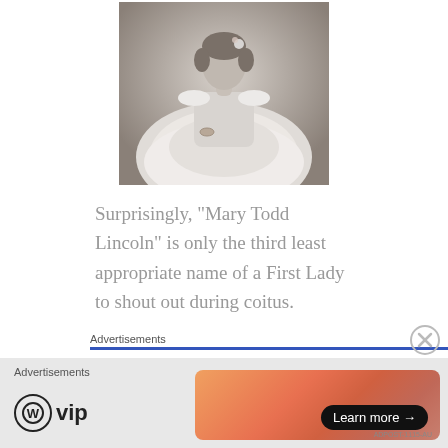[Figure (photo): Black and white historical photograph of Mary Todd Lincoln in a white off-shoulder dress with floral details, seated pose.]
Surprisingly, “Mary Todd Lincoln” is only the third least appropriate name of a First Lady to shout out during coitus.
Advertisements
[Figure (logo): Pressable logo with blue P icon and text 'Pressable' followed by dots]
Advertisements
[Figure (logo): WordPress VIP logo on gray background with a Learn more button on orange/pink gradient ad banner]